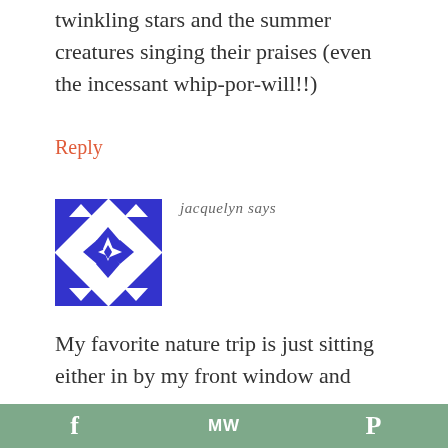twinkling stars and the summer creatures singing their praises (even the incessant whip-por-will!!)
Reply
[Figure (illustration): Blue and white geometric quilt-pattern avatar for user jacquelyn]
jacquelyn says
My favorite nature trip is just sitting either in by my front window and
f  ·  MW  ·  P